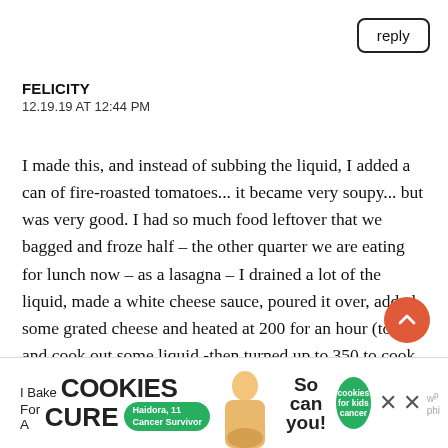reply
FELICITY
12.19.19 AT 12:44 PM
I made this, and instead of subbing the liquid, I added a can of fire-roasted tomatoes... it became very soupy... but was very good. I had so much food leftover that we bagged and froze half – the other quarter we are eating for lunch now – as a lasagna – I drained a lot of the liquid, made a white cheese sauce, poured it over, added some grated cheese and heated at 200 for an hour (to eat and cook out some liquid -then turned up to 350 to cook the cheese sauce in and brown it – it is AMAZING – we added red pepper flakes as we like it hot.
[Figure (screenshot): Advertisement banner: I Bake COOKIES For A CURE with Haidora 11 Cancer Survivor badge, So can you! text, cookies for kids cancer green badge, close buttons, and WordPress logo]